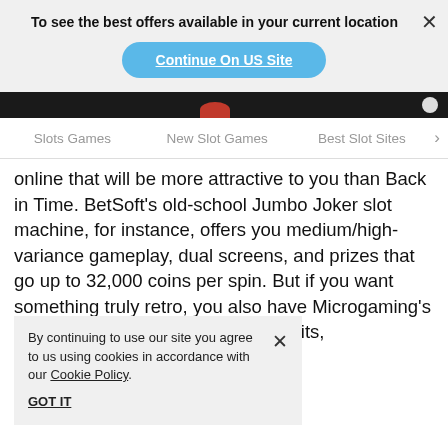To see the best offers available in your current location
Continue On US Site
Slots Games   New Slot Games   Best Slot Sites
online that will be more attractive to you than Back in Time. BetSoft's old-school Jumbo Joker slot machine, for instance, offers you medium/high-variance gameplay, dual screens, and prizes that go up to 32,000 coins per spin. But if you want something truly retro, you also have Microgaming's classic Break Da B... betting limits, a... more 3-reels g... ts, make sure to p... casinos!
By continuing to use our site you agree to us using cookies in accordance with our Cookie Policy.
GOT IT